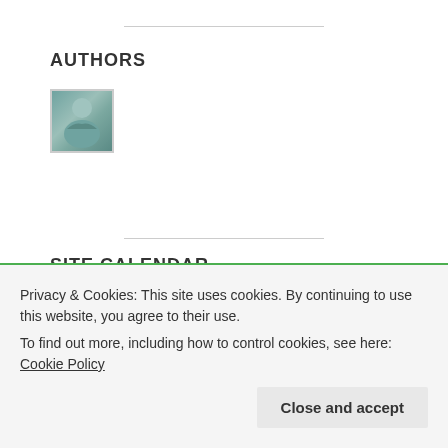AUTHORS
[Figure (photo): Author profile photo - person in teal/blue clothing]
SITE CALENDAR
| M | T | W | T | F | S | S |
| --- | --- | --- | --- | --- | --- | --- |
Privacy & Cookies: This site uses cookies. By continuing to use this website, you agree to their use.
To find out more, including how to control cookies, see here: Cookie Policy
Close and accept